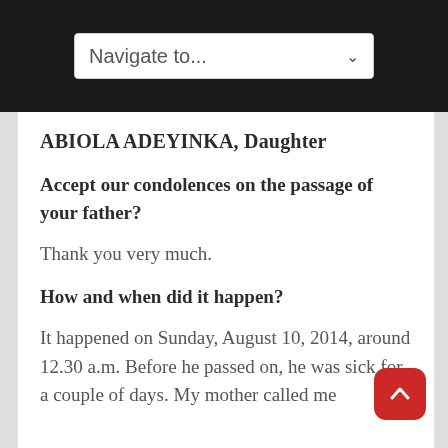Navigate to...
ABIOLA ADEYINKA, Daughter
Accept our condolences on the passage of your father?
Thank you very much.
How and when did it happen?
It happened on Sunday, August 10, 2014, around 12.30 a.m. Before he passed on, he was sick for a couple of days. My mother called me